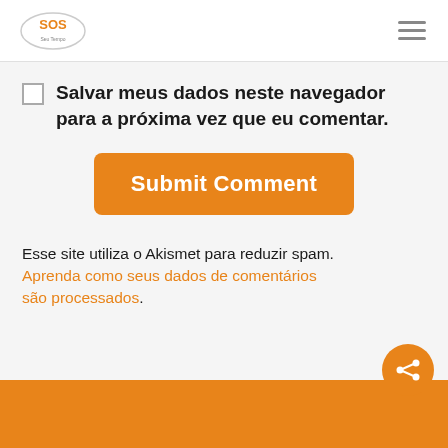SOS Seu Tempo logo and hamburger menu
Salvar meus dados neste navegador para a próxima vez que eu comentar.
Submit Comment
Esse site utiliza o Akismet para reduzir spam. Aprenda como seus dados de comentários são processados.